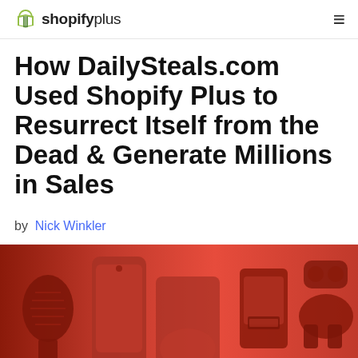shopifyplus
How DailySteals.com Used Shopify Plus to Resurrect Itself from the Dead & Generate Millions in Sales
by Nick Winkler
[Figure (photo): Hero banner image showing various electronics and products with a red/orange overlay, with 'dailystea' text visible at the bottom right, for DailySteals.com]